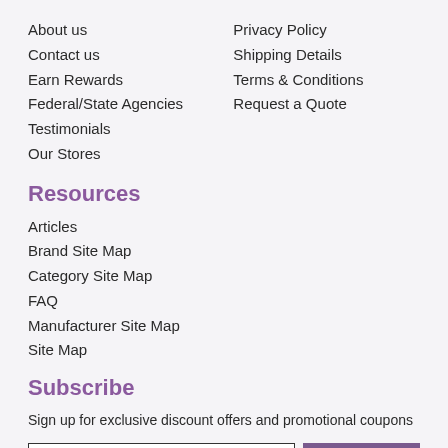About us
Contact us
Earn Rewards
Federal/State Agencies
Testimonials
Our Stores
Privacy Policy
Shipping Details
Terms & Conditions
Request a Quote
Resources
Articles
Brand Site Map
Category Site Map
FAQ
Manufacturer Site Map
Site Map
Subscribe
Sign up for exclusive discount offers and promotional coupons